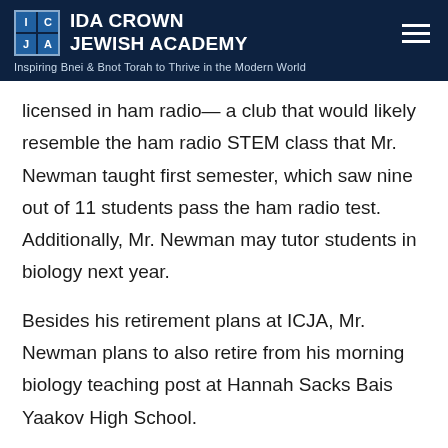IDA CROWN JEWISH ACADEMY — Inspiring Bnei & Bnot Torah to Thrive in the Modern World
licensed in ham radio— a club that would likely resemble the ham radio STEM class that Mr. Newman taught first semester, which saw nine out of 11 students pass the ham radio test. Additionally, Mr. Newman may tutor students in biology next year.
Besides his retirement plans at ICJA, Mr. Newman plans to also retire from his morning biology teaching post at Hannah Sacks Bais Yaakov High School.